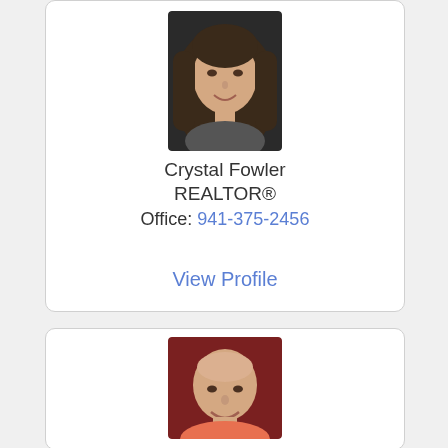[Figure (photo): Headshot of Crystal Fowler, a woman with long brown hair, smiling, against a dark background]
Crystal Fowler
REALTOR®
Office: 941-375-2456
View Profile
[Figure (photo): Headshot of a bald man smiling, wearing a coral/orange shirt, against a dark red background]